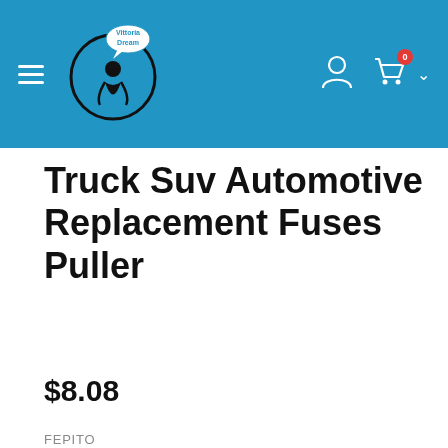Vittoria Dream — navigation header with logo, hamburger menu, user icon, cart icon
Truck Suv Automotive Replacement Fuses Puller
$8.08
FEPITO
– 1 + ADD TO CART
Social share icons: Facebook, Twitter, LinkedIn, Google+, Email